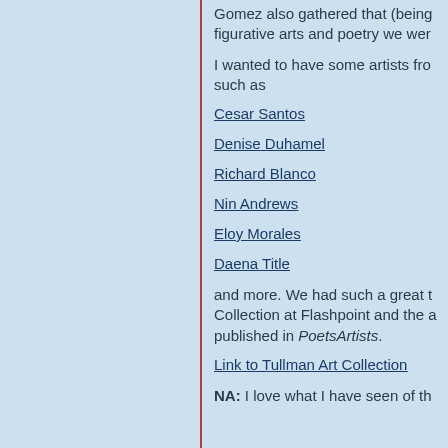Gomez also gathered that (being figurative arts and poetry we wer
I wanted to have some artists fro such as
Cesar Santos
Denise Duhamel
Richard Blanco
Nin Andrews
Eloy Morales
Daena Title
and more. We had such a great t Collection at Flashpoint and the a published in PoetsArtists.
Link to Tullman Art Collection
NA: I love what I have seen of th